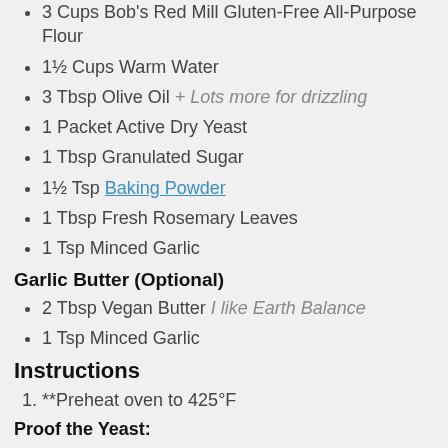3 Cups Bob's Red Mill Gluten-Free All-Purpose Flour
1½ Cups Warm Water
3 Tbsp Olive Oil + Lots more for drizzling
1 Packet Active Dry Yeast
1 Tbsp Granulated Sugar
1½ Tsp Baking Powder
1 Tbsp Fresh Rosemary Leaves
1 Tsp Minced Garlic
Garlic Butter (Optional)
2 Tbsp Vegan Butter I like Earth Balance
1 Tsp Minced Garlic
Instructions
**Preheat oven to 425°F
Proof the Yeast:
1. In the large bowl, add sugar and warm water. Mix thoroughly until the sugar dissolves.
2. Open the yeast packet and sprinkle all over the surface of the sugar and water mixture. Do not mix! *Usually, I would give the yeast a gentle stir, but for these recpe I found that